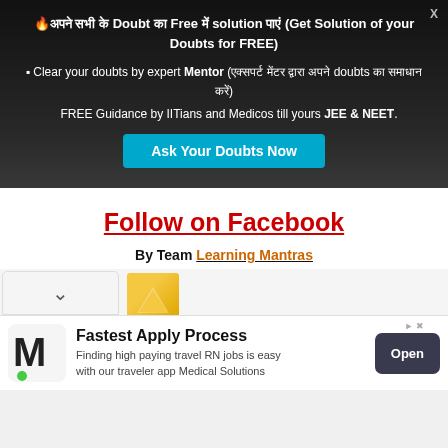🔥अपने सभी के Doubt का Free में solution पाएं (Get Solution of your Doubts for FREE)
Clear your doubts by expert Mentor (एक्सपर्ट मेंटर द्वारा अपने doubts का समाधान करें)
FREE Guidance by IITians and Medicos till yours JEE & NEET.
Ask Your Doubts Now
Follow on Facebook
By Team Learning Mantras
[Figure (other): Collapsed chevron/dropdown area with yellow graphic element]
[Figure (other): Advertisement banner: M logo, Fastest Apply Process, Finding high paying travel RN jobs is easy with our traveler app Medical Solutions, Open button]